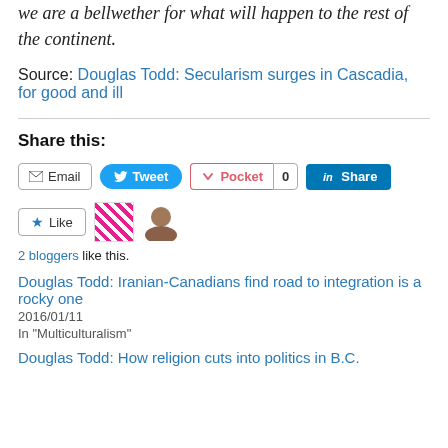we are a bellwether for what will happen to the rest of the continent.
Source: Douglas Todd: Secularism surges in Cascadia, for good and ill
Share this:
Email Tweet Pocket 0 Share
Like
2 bloggers like this.
Douglas Todd: Iranian-Canadians find road to integration is a rocky one
2016/01/11
In "Multiculturalism"
Douglas Todd: How religion cuts into politics in B.C.